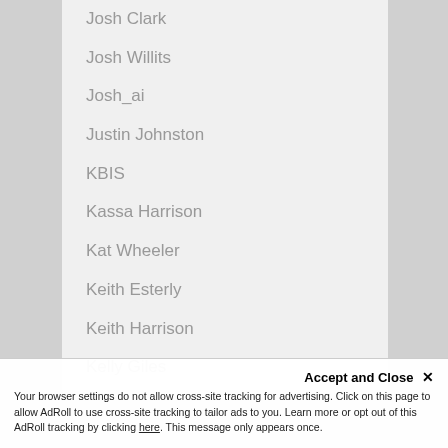Josh Clark
Josh Willits
Josh_ai
Justin Johnston
KBIS
Kassa Harrison
Kat Wheeler
Keith Esterly
Keith Harrison
Kelly Giles
Ken Vanemon
Kendall Clark
Kenny Kim
Kevin Hancock
Kris Coleman
Accept and Close ✕
Your browser settings do not allow cross-site tracking for advertising. Click on this page to allow AdRoll to use cross-site tracking to tailor ads to you. Learn more or opt out of this AdRoll tracking by clicking here. This message only appears once.